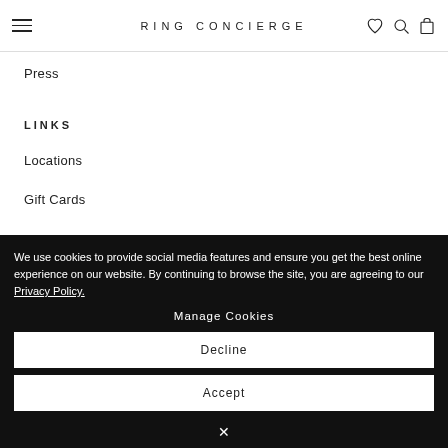RING CONCIERGE
Press
LINKS
Locations
Gift Cards
We use cookies to provide social media features and ensure you get the best online experience on our website. By continuing to browse the site, you are agreeing to our Privacy Policy.
Manage Cookies
Decline
Accept